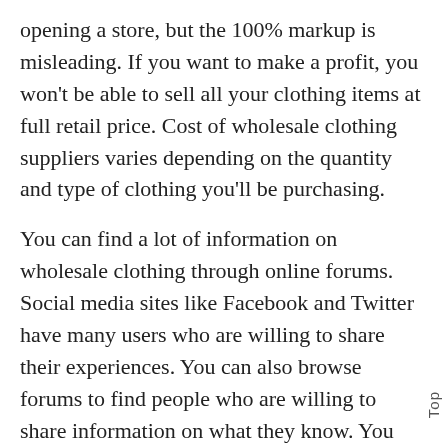opening a store, but the 100% markup is misleading. If you want to make a profit, you won't be able to sell all your clothing items at full retail price. Cost of wholesale clothing suppliers varies depending on the quantity and type of clothing you'll be purchasing.
You can find a lot of information on wholesale clothing through online forums. Social media sites like Facebook and Twitter have many users who are willing to share their experiences. You can also browse forums to find people who are willing to share information on what they know. You can also ask questions about fashion wholesale uk suppliers
Top